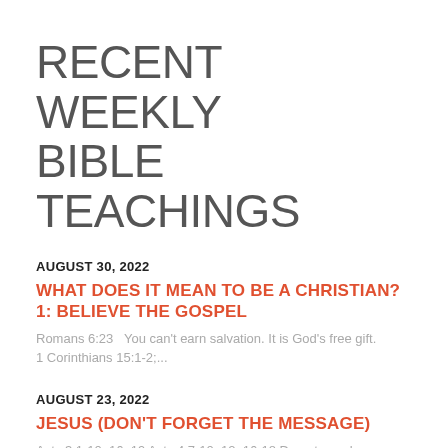RECENT WEEKLY BIBLE TEACHINGS
AUGUST 30, 2022
WHAT DOES IT MEAN TO BE A CHRISTIAN? 1: BELIEVE THE GOSPEL
Romans 6:23  You can't earn salvation. It is God's free gift. 1 Corinthians 15:1-2;...
AUGUST 23, 2022
JESUS (DON'T FORGET THE MESSAGE)
Acts 3:1-10, 16, 19 Acts 4:7-10, 12, 16-18 Do not speak. Luke 19:10   For the Son of...